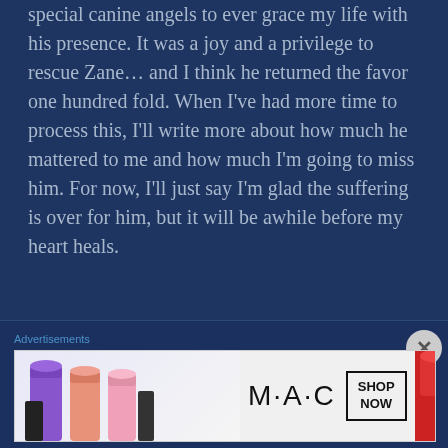special canine angels to ever grace my life with his presence. It was a joy and a privilege to rescue Zane… and I think he returned the favor one hundred fold. When I've had more time to process this, I'll write more about how much he mattered to me and how much I'm going to miss him. For now, I'll just say I'm glad the suffering is over for him, but it will be awhile before my heart heals.
[Figure (other): MAC cosmetics advertisement showing colorful lipsticks with MAC logo and SHOP NOW call-to-action box]
Advertisements